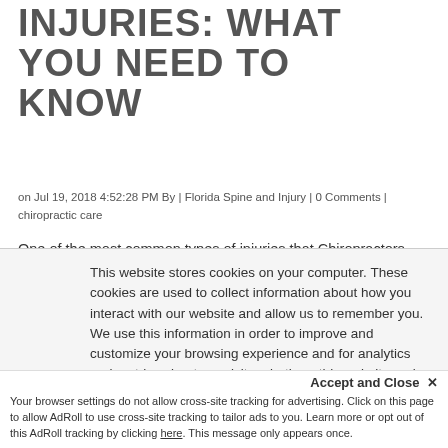INJURIES: WHAT YOU NEED TO KNOW
on Jul 19, 2018 4:52:28 PM By | Florida Spine and Injury | 0 Comments | chiropractic care
One of the most common types of injuries that Chiropractors treat for patients is Soft Tissue Injuries. These types of injuries are so common because Soft
This website stores cookies on your computer. These cookies are used to collect information about how you interact with our website and allow us to remember you. We use this information in order to improve and customize your browsing experience and for analytics and metrics about our visitors both on this website and other media. To find out more about the cookies we use, see our Privacy Policy.
Accept and Close ✕
Your browser settings do not allow cross-site tracking for advertising. Click on this page to allow AdRoll to use cross-site tracking to tailor ads to you. Learn more or opt out of this AdRoll tracking by clicking here. This message only appears once.